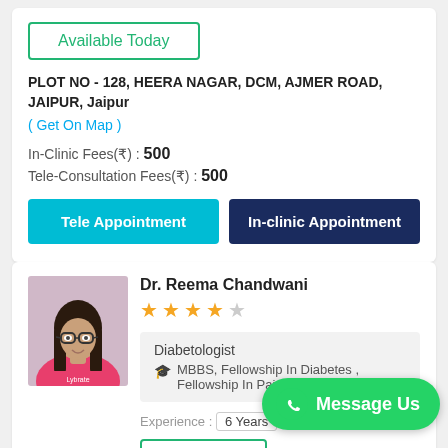Available Today
PLOT NO - 128, HEERA NAGAR, DCM, AJMER ROAD, JAIPUR, Jaipur
( Get On Map )
In-Clinic Fees(₹) : 500
Tele-Consultation Fees(₹) : 500
Tele Appointment
In-clinic Appointment
[Figure (photo): Photo of Dr. Reema Chandwani, a woman wearing glasses and a pink top]
Dr. Reema Chandwani
★★★★☆
Diabetologist
MBBS, Fellowship In Diabetes , Fellowship In Pain And Palliative
Experience : 6 Years
Available Today
Message Us